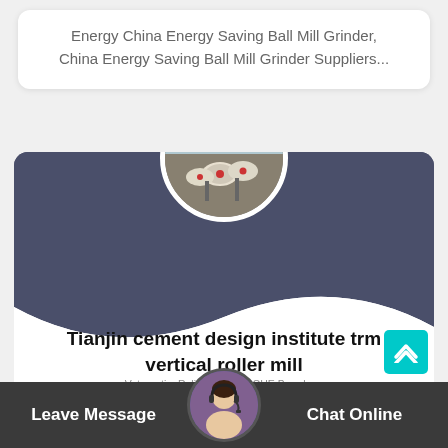Energy China Energy Saving Ball Mill Grinder, China Energy Saving Ball Mill Grinder Suppliers...
[Figure (photo): Circular photo of industrial ball mill grinder equipment outdoors in China, with red signage in background]
[Figure (illustration): Dark blue-grey wave shape card background]
Tianjin cement design institute trm vertical roller mill
Votorantim Relies on LOESCHE Brand.... Optimization of Cement Grinding Operation in
Leave Message
Chat Online
[Figure (photo): Circular avatar of customer service agent wearing headset]